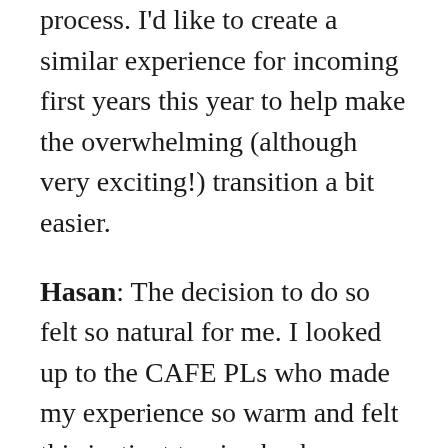process. I'd like to create a similar experience for incoming first years this year to help make the overwhelming (although very exciting!) transition a bit easier.
Hasan: The decision to do so felt so natural for me. I looked up to the CAFE PLs who made my experience so warm and felt this instinct to give back, facilitating the same experience for new members of our community. Also, it